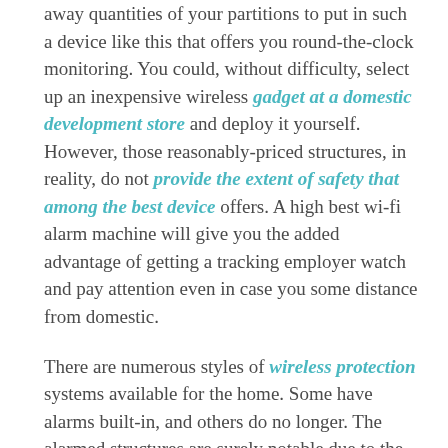away quantities of your partitions to put in such a device like this that offers you round-the-clock monitoring. You could, without difficulty, select up an inexpensive wireless gadget at a domestic development store and deploy it yourself. However, those reasonably-priced structures, in reality, do not provide the extent of safety that among the best device offers. A high best wi-fi alarm machine will give you the added advantage of getting a tracking employer watch and pay attention even in case you some distance from domestic.
There are numerous styles of wireless protection systems available for the home. Some have alarms built-in, and others do no longer. The alarmed structures are surely notable due to the fact if your own home is positioned in a closely populated place, having the gain of alarms sounding whilst your system has been